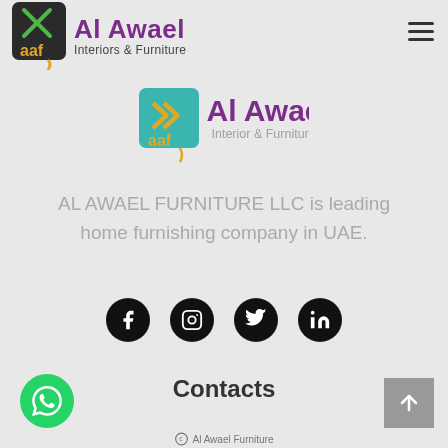[Figure (logo): Al Awael Interiors & Furniture logo in header with dark square icon and purple text]
[Figure (logo): Al Awael Interior & Furniture centered logo with teal square icon and purple text]
AL AWAEL FURNITURE LLC is leading home furnishing company in UAE.
[Figure (infographic): Four black circular social media icons: Facebook, Instagram, Twitter, LinkedIn]
Contacts
[Figure (other): Green WhatsApp button bottom left]
[Figure (other): Grey scroll-to-top arrow button bottom right]
Al Awael Furniture